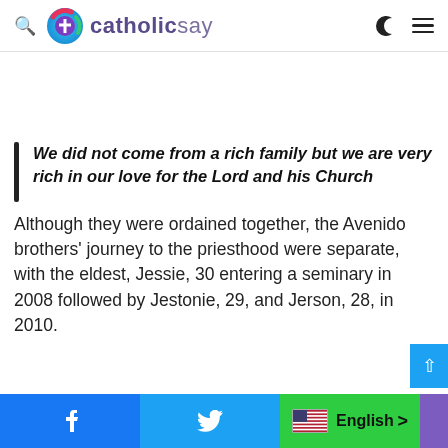catholicsay
We did not come from a rich family but we are very rich in our love for the Lord and his Church
Although they were ordained together, the Avenido brothers' journey to the priesthood were separate, with the eldest, Jessie, 30 entering a seminary in 2008 followed by Jestonie, 29, and Jerson, 28, in 2010.
English